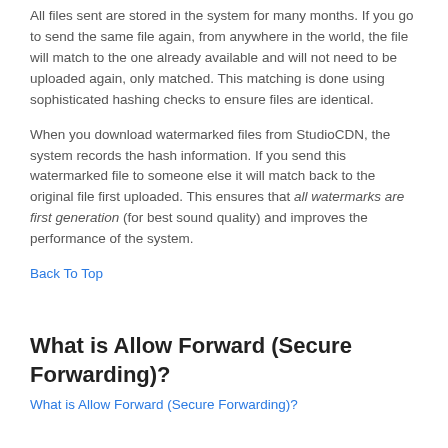All files sent are stored in the system for many months.  If you go to send the same file again, from anywhere in the world, the file will match to the one already available and will not need to be uploaded again, only matched.  This matching is done using sophisticated hashing checks to ensure files are identical.
When you download watermarked files from StudioCDN, the system records the hash information.  If you send this watermarked file to someone else it will match back to the original file first uploaded.  This ensures that all watermarks are first generation (for best sound quality) and improves the performance of the system.
Back To Top
What is Allow Forward (Secure Forwarding)?
What is Allow Forward (Secure Forwarding)?